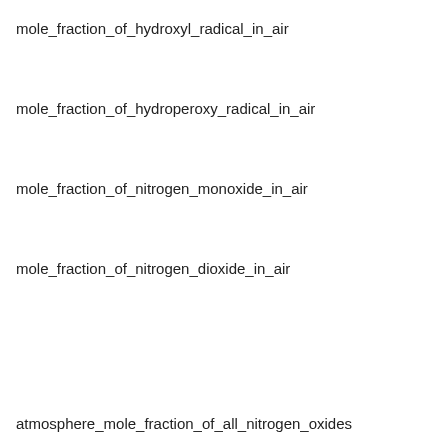mole_fraction_of_hydroxyl_radical_in_air
mole_fraction_of_hydroperoxy_radical_in_air
mole_fraction_of_nitrogen_monoxide_in_air
mole_fraction_of_nitrogen_dioxide_in_air
atmosphere_mole_fraction_of_all_nitrogen_oxides